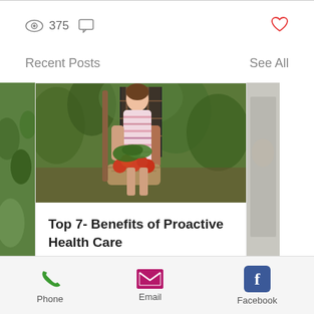[Figure (screenshot): Stats row with eye icon showing 375 views, comment icon, and red heart icon on the right]
Recent Posts
See All
[Figure (photo): A young girl in a striped dress holding a wicker basket of fresh vegetables including tomatoes and leafy greens, with an adult in a plaid shirt beside her in a garden setting]
Top 7- Benefits of Proactive Health Care
[Figure (screenshot): Bottom navigation bar with Phone (green phone icon), Email (pink envelope icon), and Facebook (blue FB icon) options]